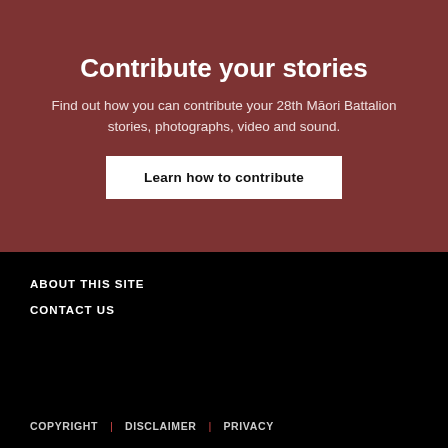Contribute your stories
Find out how you can contribute your 28th Māori Battalion stories, photographs, video and sound.
Learn how to contribute
ABOUT THIS SITE
CONTACT US
COPYRIGHT | DISCLAIMER | PRIVACY